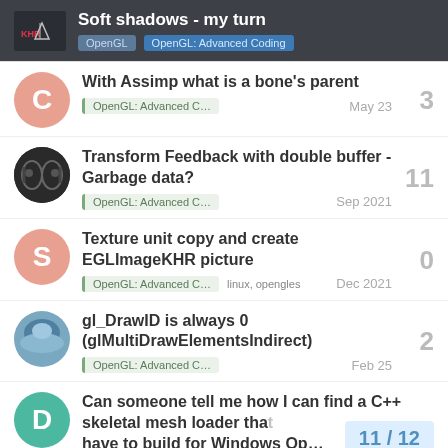Soft shadows - my turn | OpenGL | OpenGL: Advanced Coding
With Assimp what is a bone's parent | OpenGL: Advanced C... | May 23 | 3 replies
Transform Feedback with double buffer - Garbage data? | OpenGL: Advanced C... | Sep 2021 | 11 replies
Texture unit copy and create EGLImageKHR picture | OpenGL: Advanced C... | linux, opengles | Dec 2021 | 0 replies
gl_DrawID is always 0 (glMultiDrawElementsIndirect) | OpenGL: Advanced C... | Feb 25 | 2 replies
Can someone tell me how I can find a C++ skeletal mesh loader that have to build for Windows Op... | 11/12